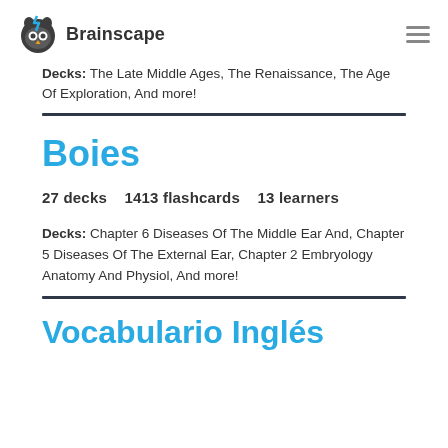Brainscape
Decks: The Late Middle Ages, The Renaissance, The Age Of Exploration, And more!
Boies
27 decks   1413 flashcards   13 learners
Decks: Chapter 6 Diseases Of The Middle Ear And, Chapter 5 Diseases Of The External Ear, Chapter 2 Embryology Anatomy And Physiol, And more!
Vocabulario Inglés